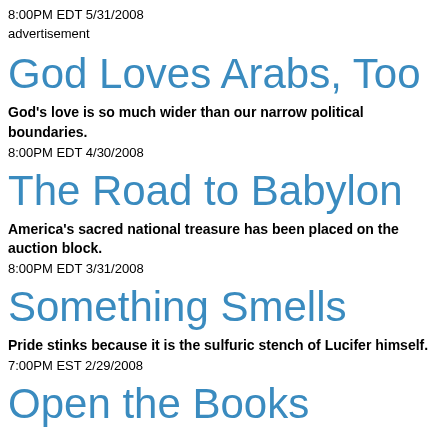8:00PM EDT 5/31/2008
advertisement
God Loves Arabs, Too
God's love is so much wider than our narrow political boundaries.
8:00PM EDT 4/30/2008
The Road to Babylon
America's sacred national treasure has been placed on the auction block.
8:00PM EDT 3/31/2008
Something Smells
Pride stinks because it is the sulfuric stench of Lucifer himself.
7:00PM EST 2/29/2008
Open the Books